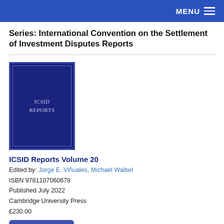MENU
Series: International Convention on the Settlement of Investment Disputes Reports
[Figure (illustration): Book cover of ICSID Reports with dark navy blue background and the text 'ICSID REPORTS' in light text]
ICSID Reports Volume 20
Edited by: Jorge E. Viñuales, Michael Waibel
ISBN 9781107060678
Published July 2022
Cambridge University Press
£230.00
Buy